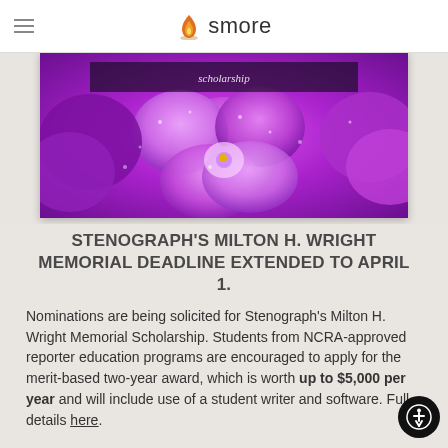smore
[Figure (photo): Close-up photo of purple/violet flowers with water droplets, partially overlaid with a dark semi-transparent banner with italic text]
STENOGRAPH'S MILTON H. WRIGHT MEMORIAL DEADLINE EXTENDED TO APRIL 1.
Nominations are being solicited for Stenograph's Milton H. Wright Memorial Scholarship. Students from NCRA-approved reporter education programs are encouraged to apply for the merit-based two-year award, which is worth up to $5,000 per year and will include use of a student writer and software. Full details here.